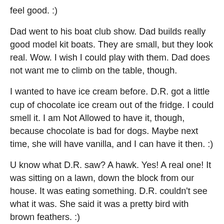feel good. :)
Dad went to his boat club show. Dad builds really good model kit boats. They are small, but they look real. Wow. I wish I could play with them. Dad does not want me to climb on the table, though.
I wanted to have ice cream before. D.R. got a little cup of chocolate ice cream out of the fridge. I could smell it. I am Not Allowed to have it, though, because chocolate is bad for dogs. Maybe next time, she will have vanilla, and I can have it then. :)
U know what D.R. saw? A hawk. Yes! A real one! It was sitting on a lawn, down the block from our house. It was eating something. D.R. couldn't see what it was. She said it was a pretty bird with brown feathers. :)
D.R. has to go to the doctor next week. She does not want to, but they have to give her a check-up for something. Then there is another one she has to go to, the week after that. D.R. said she is a little bit skoored, and she will be happy.